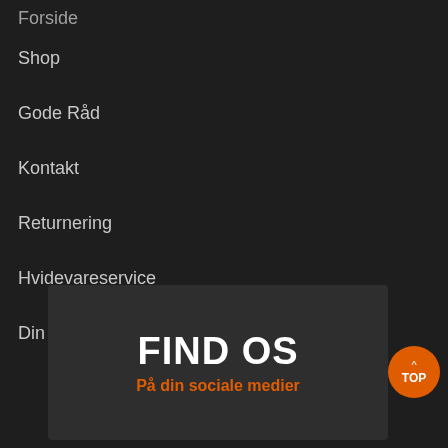Forside
Shop
Gode Råd
Kontakt
Returnering
Hvidevareservice
Din konto
[Figure (infographic): Dark rounded rectangle box with white bold text 'FIND OS' and orange subtitle 'På din sociale medier']
TOP